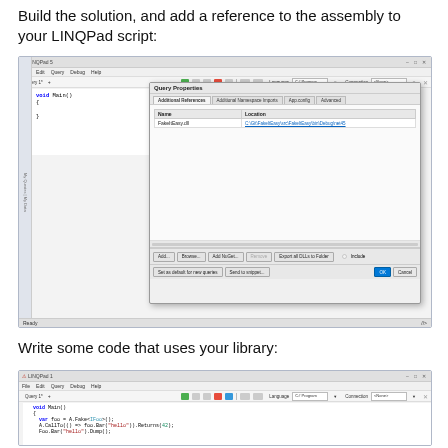Build the solution, and add a reference to the assembly to your LINQPad script:
[Figure (screenshot): LINQPad IDE window showing Query Properties dialog with Additional References tab, listing FakeItEasy.dll with a file path location link. The dialog has tabs: Additional References, Additional Namespace Imports, App.config, Advanced. Buttons: Add, Browse, Add NuGet, Remove, Export all DLLs to Folder, Include checkbox, Set as default for new queries, Send to snippet, OK, Cancel.]
Write some code that uses your library:
[Figure (screenshot): LINQPad IDE window showing C# code: void Main() { var foo = A.Fake<IFoo>(); A.CallTo(() => foo.Bar("hello")).Returns(42); Foo.Bar("hello").Dump(); }]